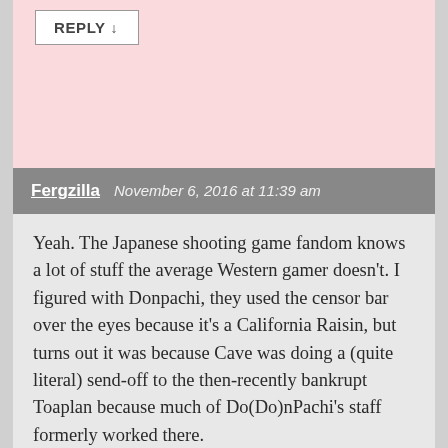REPLY ↓
Fergzilla   November 6, 2016 at 11:39 am
Yeah. The Japanese shooting game fandom knows a lot of stuff the average Western gamer doesn't. I figured with Donpachi, they used the censor bar over the eyes because it's a California Raisin, but turns out it was because Cave was doing a (quite literal) send-off to the then-recently bankrupt Toaplan because much of Do(Do)nPachi's staff formerly worked there.
And speaking of Toaplan and Cave, this article inspired me to send another email to you about a Cave-developed arcade game that has… some very weird Engrish text that doesn't make any sense, especially near the ending (Dangun